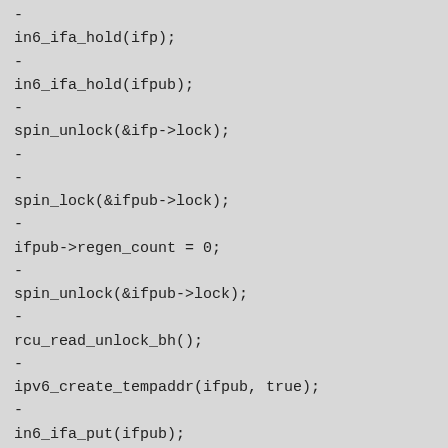-
in6_ifa_hold(ifp);
-
in6_ifa_hold(ifpub);
-
spin_unlock(&ifp->lock);
-
-
spin_lock(&ifpub->lock);
-
ifpub->regen_count = 0;
-
spin_unlock(&ifpub->lock);
-
rcu_read_unlock_bh();
-
ipv6_create_tempaddr(ifpub, true);
-
in6_ifa_put(ifpub);
-
in6_ifa_put(ifp);
-
rcu_read_lock_bh();
-
goto restart;